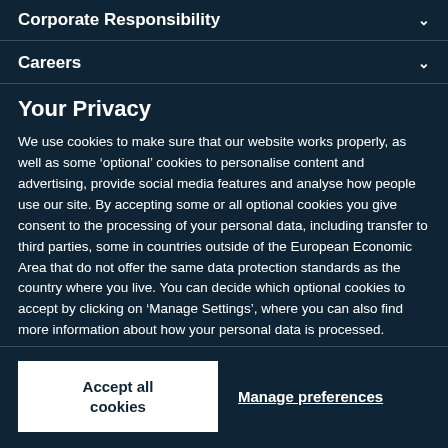Corporate Responsibility
Careers
Your Privacy
We use cookies to make sure that our website works properly, as well as some ‘optional’ cookies to personalise content and advertising, provide social media features and analyse how people use our site. By accepting some or all optional cookies you give consent to the processing of your personal data, including transfer to third parties, some in countries outside of the European Economic Area that do not offer the same data protection standards as the country where you live. You can decide which optional cookies to accept by clicking on ‘Manage Settings’, where you can also find more information about how your personal data is processed. Further information can be found in our privacy policy.
Accept all cookies
Manage preferences